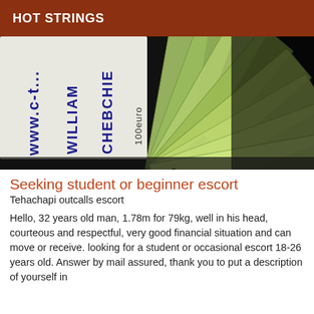HOT STRINGS
[Figure (photo): Photo showing handwritten text on paper alongside a fan of 100 euro banknotes spread out against a dark background.]
Seeking student or beginner escort
Tehachapi outcalls escort
Hello, 32 years old man, 1.78m for 79kg, well in his head, courteous and respectful, very good financial situation and can move or receive. looking for a student or occasional escort 18-26 years old. Answer by mail assured, thank you to put a description of yourself in